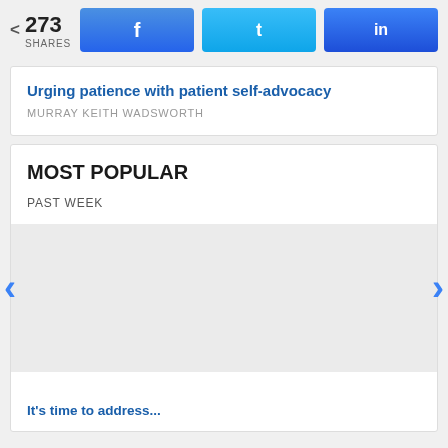< 273 SHARES
Urging patience with patient self-advocacy
MURRAY KEITH WADSWORTH
MOST POPULAR
PAST WEEK
It's time to address... (truncated)